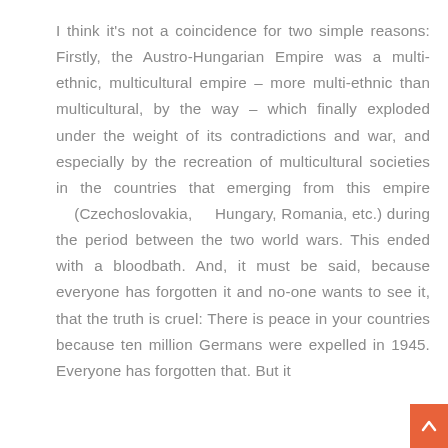I think it's not a coincidence for two simple reasons: Firstly, the Austro-Hungarian Empire was a multi-ethnic, multicultural empire – more multi-ethnic than multicultural, by the way – which finally exploded under the weight of its contradictions and war, and especially by the recreation of multicultural societies in the countries that emerging from this empire (Czechoslovakia, Hungary, Romania, etc.) during the period between the two world wars. This ended with a bloodbath. And, it must be said, because everyone has forgotten it and no-one wants to see it, that the truth is cruel: There is peace in your countries because ten million Germans were expelled in 1945. Everyone has forgotten that. But it